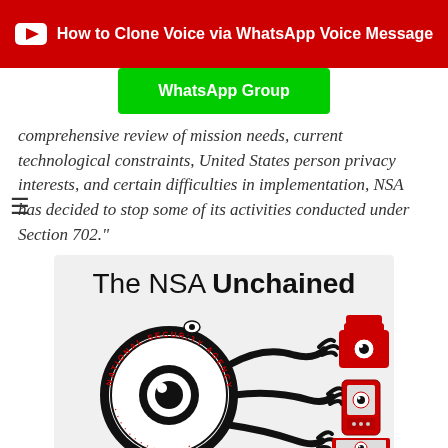How to Clone Voice via WhatsApp Voice Message
WhatsApp Group
comprehensive review of mission needs, current technological constraints, United States person privacy interests, and certain difficulties in implementation, NSA has decided to stop some of its activities conducted under Section 702."
[Figure (illustration): The NSA Unchained illustration showing an NSA logo (large eye inside National Security Agency circular badge) with black tentacle-like arms reaching toward a red telephone, a mobile phone, and a laptop, each with an eye symbol.]